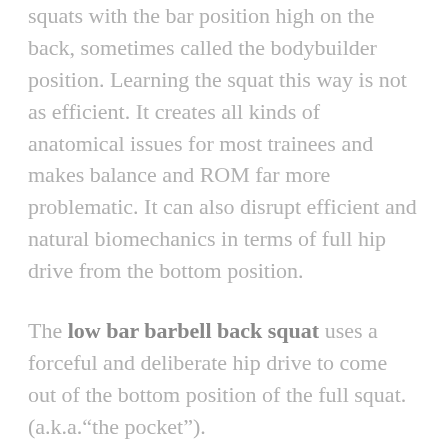squats with the bar position high on the back, sometimes called the bodybuilder position. Learning the squat this way is not as efficient. It creates all kinds of anatomical issues for most trainees and makes balance and ROM far more problematic. It can also disrupt efficient and natural biomechanics in terms of full hip drive from the bottom position.
The low bar barbell back squat uses a forceful and deliberate hip drive to come out of the bottom position of the full squat. (a.k.a.“the pocket”).
Remember a movement like the squat can be as